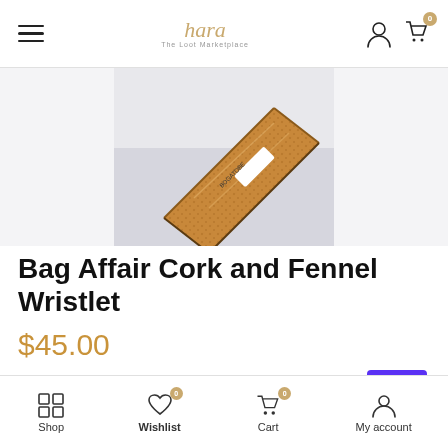Hara The Loot Marketplace — navigation bar with hamburger menu, logo, user icon, cart icon (0)
[Figure (photo): Product photo of Bag Affair Cork and Fennel Wristlet — a textured brown/cork patterned clutch with BOGATOBE tag, on white background]
Bag Affair Cork and Fennel Wristlet
$45.00
Pay in 4 interest-free installments for orders over $50 with Shop Pay Learn more
THERE ARE ONLY 1 ITEM(S) LEFT!
Shop | Wishlist (0) | Cart (0) | My account